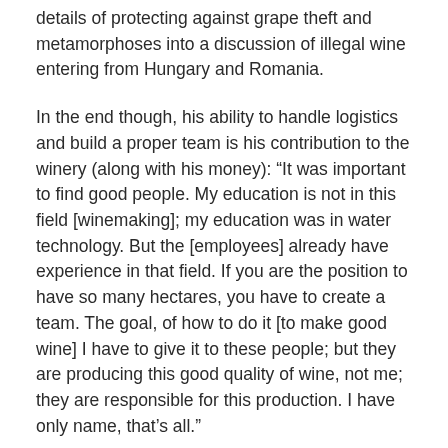details of protecting against grape theft and metamorphoses into a discussion of illegal wine entering from Hungary and Romania.
In the end though, his ability to handle logistics and build a proper team is his contribution to the winery (along with his money): “It was important to find good people. My education is not in this field [winemaking]; my education was in water technology. But the [employees] already have experience in that field. If you are the position to have so many hectares, you have to create a team. The goal, of how to do it [to make good wine] I have to give it to these people; but they are producing this good quality of wine, not me; they are responsible for this production. I have only name, that’s all.”